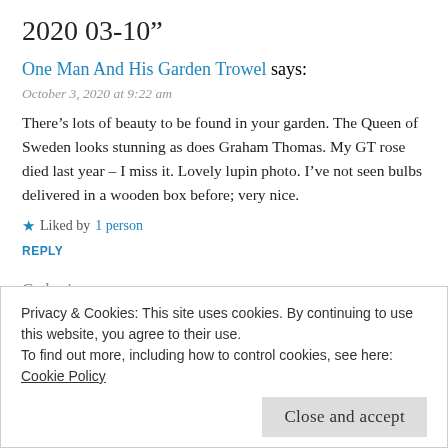2020 03-10"
One Man And His Garden Trowel says:
October 3, 2020 at 9:22 am
There’s lots of beauty to be found in your garden. The Queen of Sweden looks stunning as does Graham Thomas. My GT rose died last year – I miss it. Lovely lupin photo. I’ve not seen bulbs delivered in a wooden box before; very nice.
★ Liked by 1 person
REPLY
Catherine says:
Privacy & Cookies: This site uses cookies. By continuing to use this website, you agree to their use.
To find out more, including how to control cookies, see here:
Cookie Policy
Close and accept